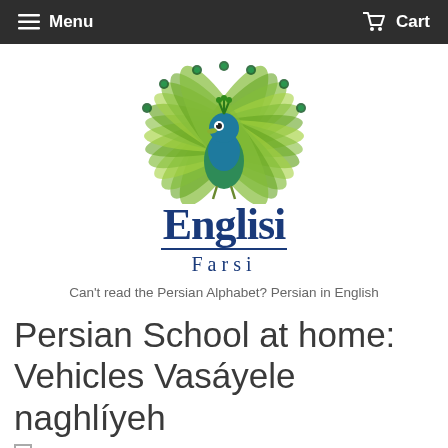Menu   Cart
[Figure (logo): Englisi Farsi logo with a cartoon peacock and the text 'Englisi Farsi' in blue serif font]
Can't read the Persian Alphabet? Persian in English
Persian School at home: Vehicles Vasáyele naghlíyeh